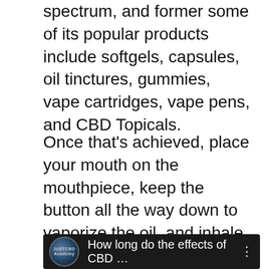spectrum, and former some of its popular products include softgels, capsules, oil tinctures, gummies, vape cartridges, vape pens, and CBD Topicals.
Once that's achieved, place your mouth on the mouthpiece, keep the button all the way down to vaporize the oil, and inhale. Smokers and others who're looking out for a vape with a kick are more than doubtless out there in the marketplace for top-of-the-line e-liquid vape pen. In this part, we are going to focus on top-of-the-line 510 thread vaporizer pens , in addition to vape pens that use proprietary or constructed-in tanks.
[Figure (screenshot): Video thumbnail showing a dark background with a circular logo labeled 'JUSTCBD' on the left and the text 'How long do the effects of CBD ...' followed by a three-dot menu icon on the right.]